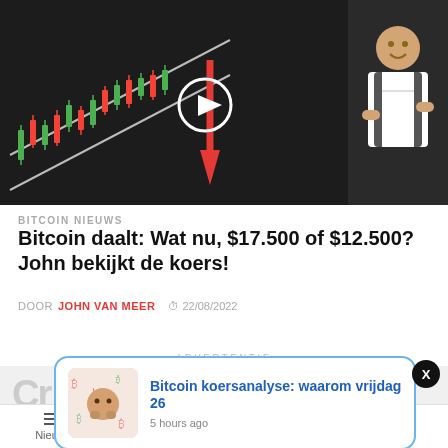[Figure (screenshot): Bitcoin price chart screenshot with candlestick chart showing downward trend, red arrow pointing down, a play button overlay, and a person (John van Meer) on the right side]
BITCOIN NIEUWS
Bitcoin daalt: Wat nu, $17.500 of $12.500? John bekijkt de koers!
DOOR JOHN VAN MEER  22/08/2022
ADVERTENTIE
[Figure (screenshot): Partial advertisement with 'Cr' text visible and red button]
[Figure (screenshot): Notification popup with thumbnail of woman with hands on face, bitcoin symbols, text: Bitcoin koersanalyse: waarom vrijdag 26, 5 hours ago]
Nieuws  Columns  Community  Kopen